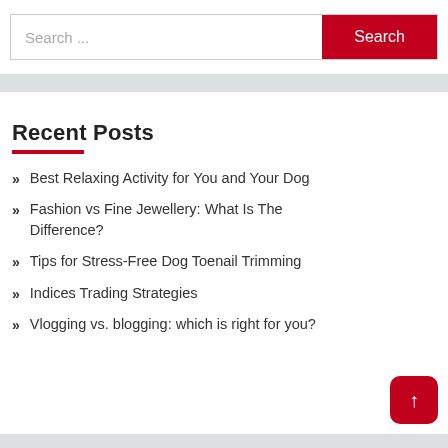[Figure (screenshot): Search bar with text input placeholder 'Search ...' and a red 'Search' button on the right]
Recent Posts
Best Relaxing Activity for You and Your Dog
Fashion vs Fine Jewellery: What Is The Difference?
Tips for Stress-Free Dog Toenail Trimming
Indices Trading Strategies
Vlogging vs. blogging: which is right for you?